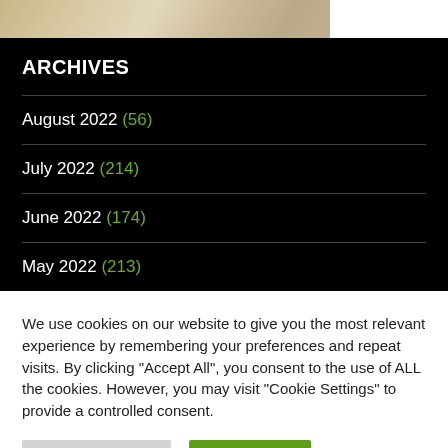[Figure (photo): Partial photograph of people in formal/ceremonial attire, cropped at top of page]
ARCHIVES
August 2022 (56)
July 2022 (214)
June 2022 (174)
May 2022 (213)
We use cookies on our website to give you the most relevant experience by remembering your preferences and repeat visits. By clicking "Accept All", you consent to the use of ALL the cookies. However, you may visit "Cookie Settings" to provide a controlled consent.